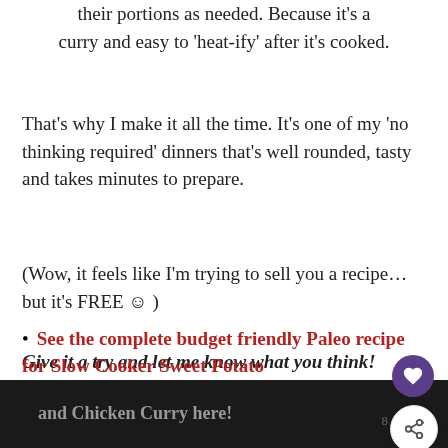their portions as needed. Because it's a curry and easy to 'heat-ify' after it's cooked.
That's why I make it all the time. It's one of my 'no thinking required' dinners that's well rounded, tasty and takes minutes to prepare.
(Wow, it feels like I'm trying to sell you a recipe… but it's FREE ☺ )
Give it a try and let me know what you think! Will your family love this as much as we do?
See the complete budget friendly Paleo recipe for Slow Cooker Sweet Potato and Chicken Curry here!